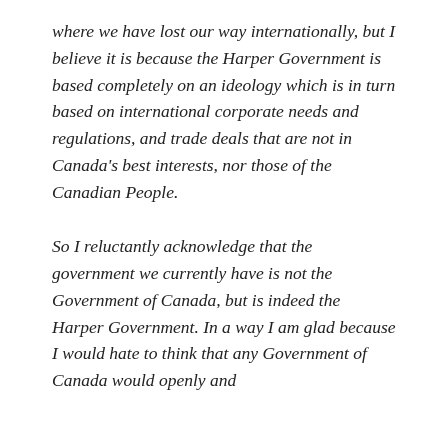where we have lost our way internationally, but I believe it is because the Harper Government is based completely on an ideology which is in turn based on international corporate needs and regulations, and trade deals that are not in Canada's best interests, nor those of the Canadian People.
So I reluctantly acknowledge that the government we currently have is not the Government of Canada, but is indeed the Harper Government. In a way I am glad because I would hate to think that any Government of Canada would openly and